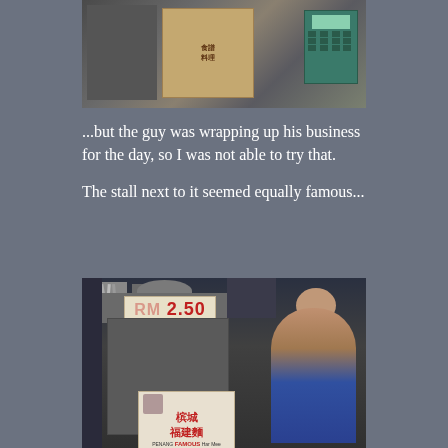[Figure (photo): Top portion of a food stall photo showing shelves, a poster with Chinese text, and a green calculator on the right side.]
...but the guy was wrapping up his business for the day, so I was not able to try that.
The stall next to it seemed equally famous...
[Figure (photo): A food stall with a large metal cooking unit, a price sign showing RM 2.50, a newspaper clipping reading 'Penang Famous Har Mee' with Chinese characters, and an elderly man standing behind the stall.]